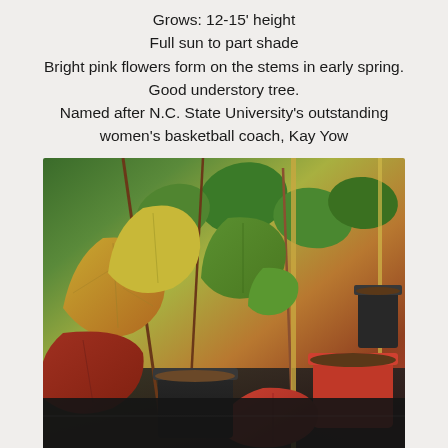Grows: 12-15' height
Full sun to part shade
Bright pink flowers form on the stems in early spring. Good understory tree.
Named after N.C. State University's outstanding women's basketball coach, Kay Yow
[Figure (photo): Close-up photograph of redbud tree leaves in a nursery setting, showing heart-shaped leaves in various stages of color from green to yellow-orange to red-brown. Plants are in black nursery pots with bamboo stakes for support, on a dark ground cover.]